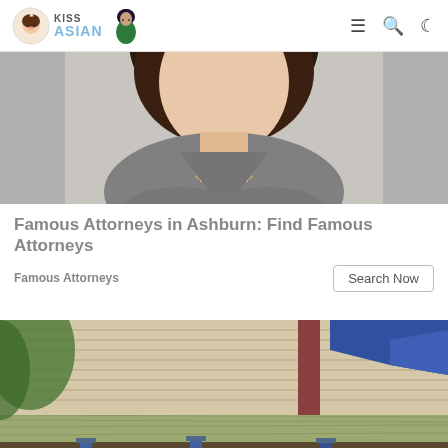KissAsian
[Figure (photo): Woman with dark brown shoulder-length hair wearing a grey v-neck top with arms crossed, partial photo cropped at torso]
Famous Attorneys in Ashburn: Find Famous Attorneys
Famous Attorneys
[Figure (photo): Construction/foundation repair scene showing wooden beams, house siding, and hydraulic jacks under a house structure]